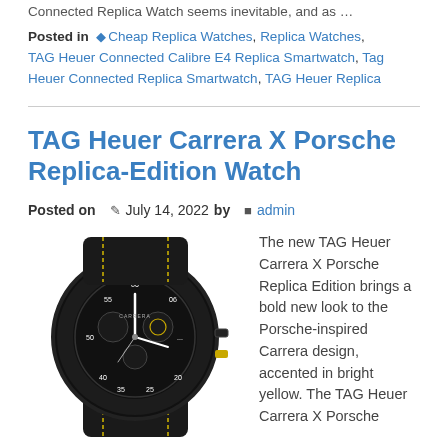Connected Replica Watch seems inevitable, and as …
Posted in  Cheap Replica Watches, Replica Watches, TAG Heuer Connected Calibre E4 Replica Smartwatch, Tag Heuer Connected Replica Smartwatch, TAG Heuer Replica
TAG Heuer Carrera X Porsche Replica-Edition Watch
Posted on  July 14, 2022 by  admin
[Figure (photo): TAG Heuer Carrera X Porsche watch with black case and yellow accents on a black textile strap]
The new TAG Heuer Carrera X Porsche Replica Edition brings a bold new look to the Porsche-inspired Carrera design, accented in bright yellow. The TAG Heuer Carrera X Porsche